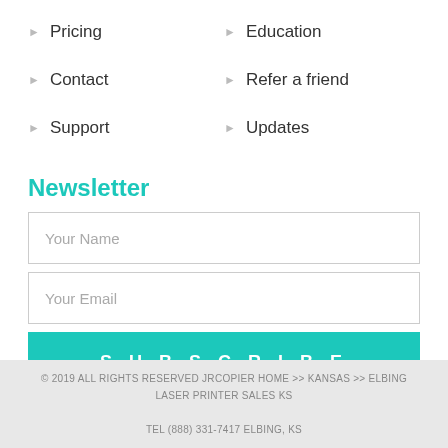Pricing
Education
Contact
Refer a friend
Support
Updates
Newsletter
Your Name
Your Email
SUBSCRIBE
© 2019 ALL RIGHTS RESERVED JRCOPIER HOME >> KANSAS >> ELBING LASER PRINTER SALES KS
TEL (888) 331-7417 ELBING, KS